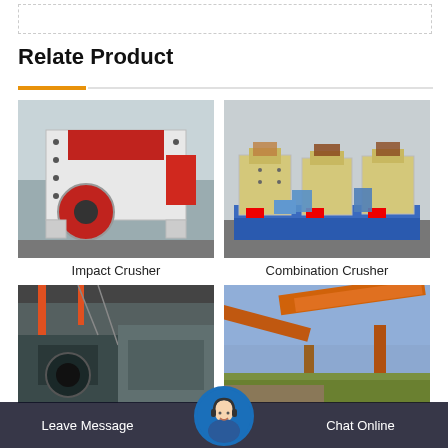Relate Product
[Figure (photo): Impact Crusher machine - large industrial crusher with red and white body]
Impact Crusher
[Figure (photo): Combination Crusher machines - multiple cream/yellow colored industrial crushers on blue base]
Combination Crusher
[Figure (photo): Industrial factory/plant equipment - lower left product]
[Figure (photo): Conveyor belt or industrial mining equipment - lower right product]
Leave Message
Chat Online